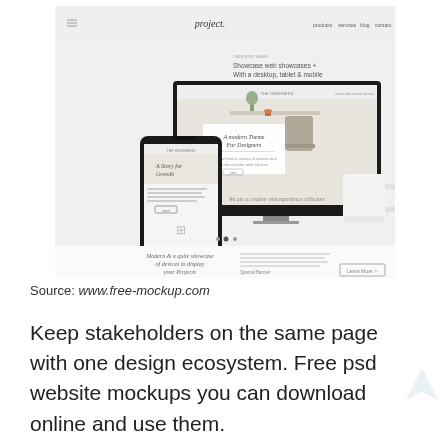[Figure (screenshot): Screenshot of a web design mockup website showing a desktop monitor and smartphone displaying a modern website design with text 'A modern Theme for Designers', along with navigation bar labeled 'project.' and menu items. Below the main hero image there is a section showing device mockups with text 'Modern & a quite showcase of devices to display your Projects' and a 'Learn More' button.]
Source: www.free-mockup.com
Keep stakeholders on the same page with one design ecosystem. Free psd website mockups you can download online and use them.